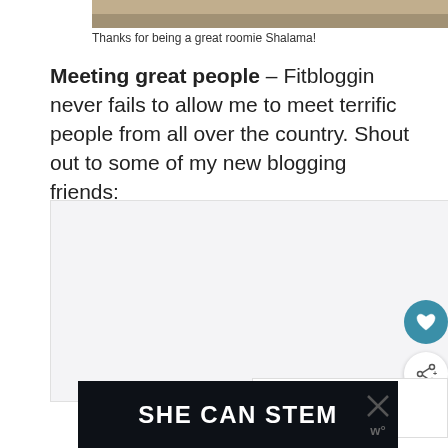[Figure (photo): Partial photo visible at top of page, cropped]
Thanks for being a great roomie Shalama!
Meeting great people – Fitbloggin never fails to allow me to meet terrific people from all over the country. Shout out to some of my new blogging friends:
[Figure (other): Embedded content box (light gray background placeholder)]
[Figure (other): UI overlay: heart/like button, share button, What's Next panel with Summer Fitness... link, and SHE CAN STEM advertisement banner]